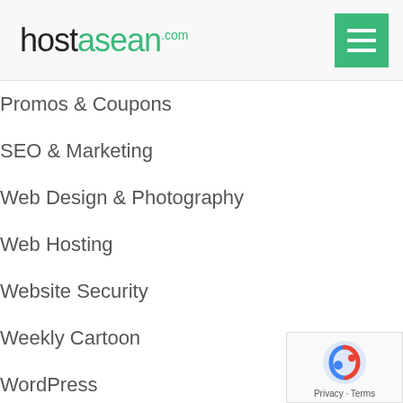hostasean.com
Promos & Coupons
SEO & Marketing
Web Design & Photography
Web Hosting
Website Security
Weekly Cartoon
WordPress
Latest Posts
HTTP vs HTTPS: Risks of not using an SSL certificate on your website
Free Upgrades to Existing Web Hosting Packages